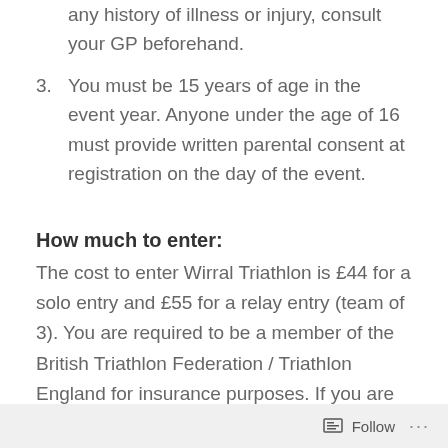any history of illness or injury, consult your GP beforehand.
3. You must be 15 years of age in the event year. Anyone under the age of 16 must provide written parental consent at registration on the day of the event.
How much to enter:
The cost to enter Wirral Triathlon is £44 for a solo entry and £55 for a relay entry (team of 3). You are required to be a member of the British Triathlon Federation / Triathlon England for insurance purposes. If you are not already a member, you can buy a ‘day license’ for an additional £5 at the time on entry. Entries will close either at 12 noon on the Thursday
Follow ...